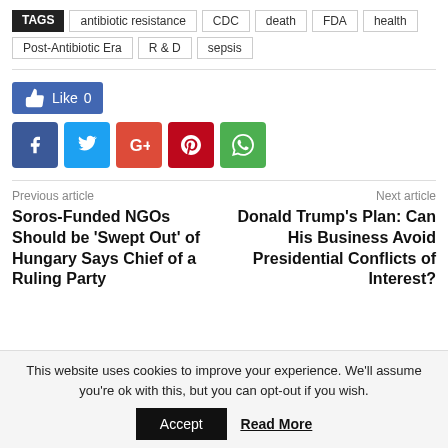TAGS   antibiotic resistance   CDC   death   FDA   health   Post-Antibiotic Era   R & D   sepsis
[Figure (infographic): Social sharing buttons: Facebook Like button showing 0 likes, followed by Facebook, Twitter, Google+, Pinterest, and WhatsApp share icons]
Previous article
Next article
Soros-Funded NGOs Should be 'Swept Out' of Hungary Says Chief of a Ruling Party
Donald Trump's Plan: Can His Business Avoid Presidential Conflicts of Interest?
This website uses cookies to improve your experience. We'll assume you're ok with this, but you can opt-out if you wish.
Accept   Read More